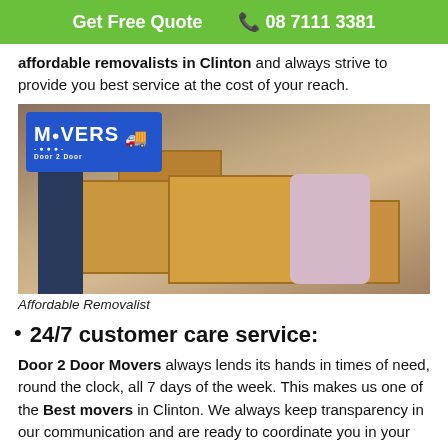Get Free Quote   📞 08 7111 3381
affordable removalists in Clinton and always strive to provide you best service at the cost of your reach.
[Figure (photo): Photo of a person packing moving boxes with Door 2 Door Movers logo overlay in top left]
Affordable Removalist
24/7 customer care service:
Door 2 Door Movers always lends its hands in times of need, round the clock, all 7 days of the week. This makes us one of the Best movers in Clinton. We always keep transparency in our communication and are ready to coordinate you in your moving and relocation task.